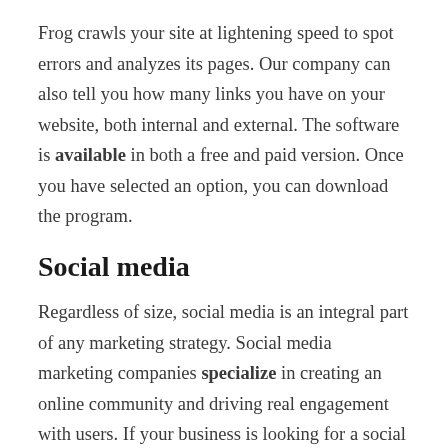Frog crawls your site at lightening speed to spot errors and analyzes its pages. Our company can also tell you how many links you have on your website, both internal and external. The software is available in both a free and paid version. Once you have selected an option, you can download the program.
Social media
Regardless of size, social media is an integral part of any marketing strategy. Social media marketing companies specialize in creating an online community and driving real engagement with users. If your business is looking for a social media